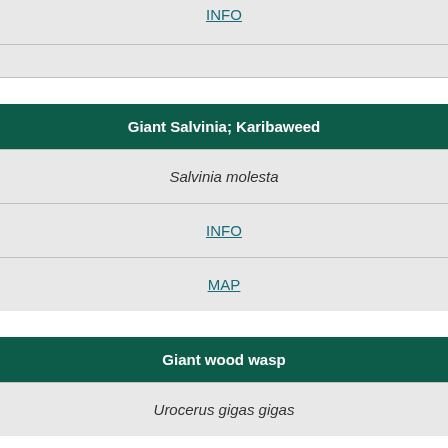INFO
Giant Salvinia; Karibaweed
Salvinia molesta
INFO
MAP
Giant wood wasp
Urocerus gigas gigas